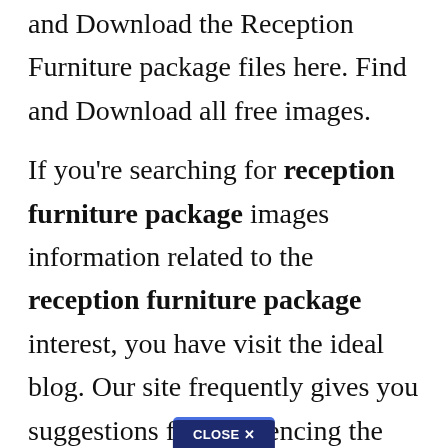and Download the Reception Furniture package files here. Find and Download all free images.
If you're searching for reception furniture package images information related to the reception furniture package interest, you have visit the ideal blog. Our site frequently gives you suggestions for refferencing the maximum quality video and picture content, please kindly search and locate more informative video articles and images that